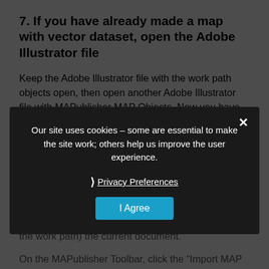7. If you have already made a map with vector dataset, open the Adobe Illustrator file
Keep the Adobe Illustrator file with the work path objects open, then open another Adobe Illustrator file with MAPublisher MAP Objects. Now you have two Adobe Illustrator documents open.
8. Import MAP Objects from the AI file with the workpath to another AI file with a map
Make the Adobe Illustrator file with a map (not with the work path) the current document.
On the MAPublisher Toolbar, click the “Import MAP Object” button.